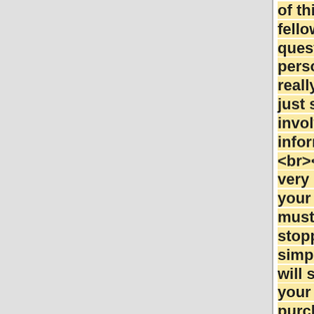of this given fellow. Direct questions about personal life really are avoided, just some ready involving information. <br><br>If you very active on your phone, you must consider stopping up your simply call. This will safe guard your apps, purchases and other valuable documents. This way if you have to acquire
tons of money, much more than can help you save this software which works for you forever.